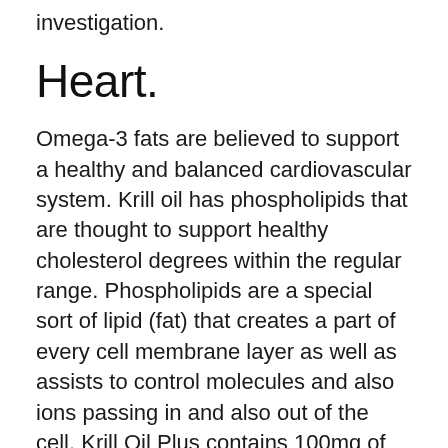investigation.
Heart.
Omega-3 fats are believed to support a healthy and balanced cardiovascular system. Krill oil has phospholipids that are thought to support healthy cholesterol degrees within the regular range. Phospholipids are a special sort of lipid (fat) that creates a part of every cell membrane layer as well as assists to control molecules and also ions passing in and also out of the cell. Krill Oil Plus contains 100mg of phospholipids in a normal offering.
The studies have actually shown a mix of results, some excellent, some poor. I found a